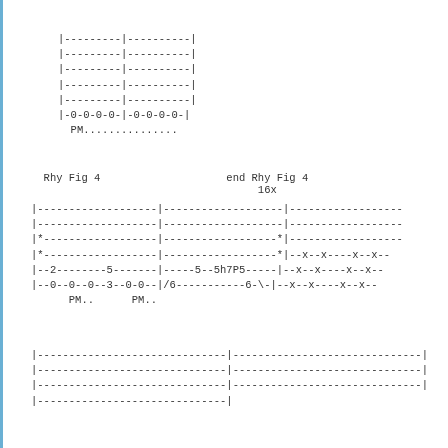|---------|----------|
|---------|----------|
|---------|----------|
|---------|----------|
|---------|----------|
|-0-0-0-0-|-0-0-0-0-|
  PM...............
Rhy Fig 4                    end Rhy Fig 4
                                  16x
|-------------------|-------------------|------------------
|-------------------|-------------------|------------------
|*------------------|------------------*|------------------
|*------------------|------------------*|--x--x----x--x--
|--2--------5-------|-----5--5h7P5-----|--x--x----x--x--
|--0--0--0--3--0-0--|/6-----------6-\-|--x--x----x--x--
      PM..      PM..
|------------------------------|------------------------------|
|------------------------------|------------------------------|
|------------------------------|------------------------------|
|------------------------------|